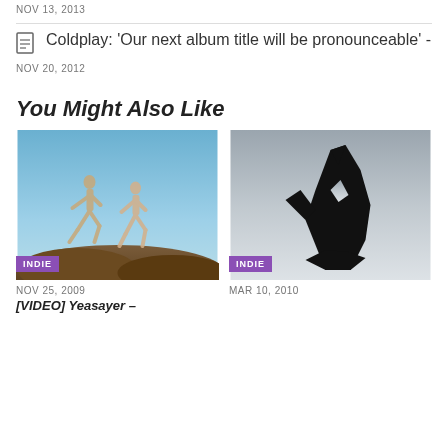NOV 13, 2013
Coldplay: ‘Our next album title will be pronounceable’ -
NOV 20, 2012
You Might Also Like
[Figure (photo): Two figures jumping on rocky terrain against blue sky, with INDIE badge]
NOV 25, 2009
[VIDEO] Yeasayer –
[Figure (photo): Black silhouette of abstract sculpture against grey-white sky gradient, with INDIE badge]
MAR 10, 2010